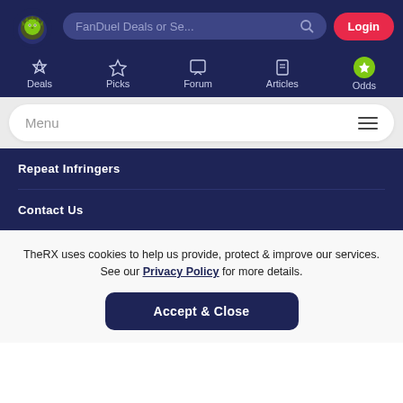[Figure (logo): TheRX logo with lion head icon, 'THE RX' text in white on dark navy background]
FanDuel Deals or Se...
Login
Deals
Picks
Forum
Articles
Odds
Menu
Repeat Infringers
Contact Us
TheRX uses cookies to help us provide, protect & improve our services. See our Privacy Policy for more details.
Accept & Close